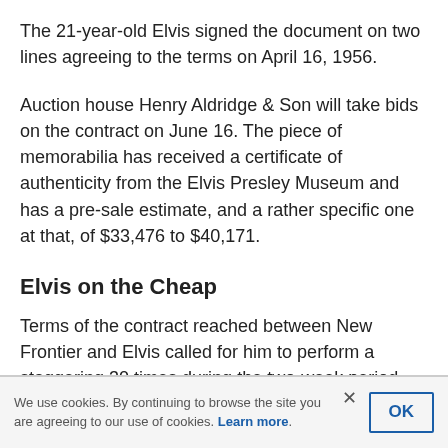The 21-year-old Elvis signed the document on two lines agreeing to the terms on April 16, 1956.
Auction house Henry Aldridge & Son will take bids on the contract on June 16. The piece of memorabilia has received a certificate of authenticity from the Elvis Presley Museum and has a pre-sale estimate, and a rather specific one at that, of $33,476 to $40,171.
Elvis on the Cheap
Terms of the contract reached between New Frontier and Elvis called for him to perform a staggering 30 times during the two-week period. That's less than $500 per show when his commission to William Morris is factored in.
We use cookies. By continuing to browse the site you are agreeing to our use of cookies. Learn more.